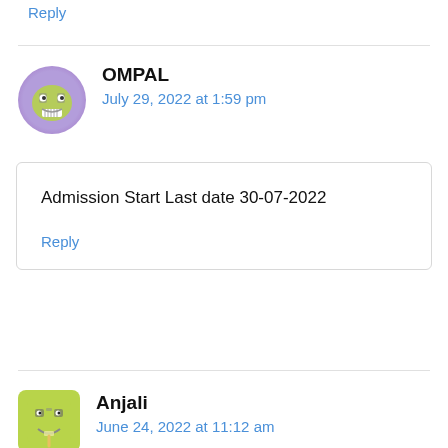Reply
OMPAL
July 29, 2022 at 1:59 pm
Admission Start Last date 30-07-2022
Reply
Anjali
June 24, 2022 at 11:12 am